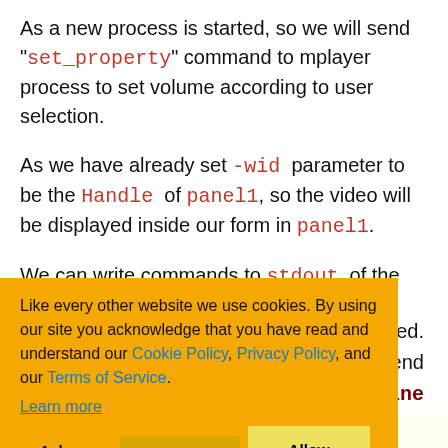As a new process is started, so we will send "set_property" command to mplayer process to set volume according to user selection.
As we have already set -wid parameter to be the Handle of panel1, so the video will be displayed inside our form in panel1.
We can write commands to stdout of the mplayer ... ing played. ...t we append ...g WriteLine ...ne task of ...s.
[Figure (screenshot): Cookie consent overlay with orange background. Text: 'Like every other website we use cookies. By using our site you acknowledge that you have read and understand our Cookie Policy, Privacy Policy, and our Terms of Service. Learn more'. Buttons: 'Ask me later', 'Decline', 'Allow cookies']
Copy Code
{